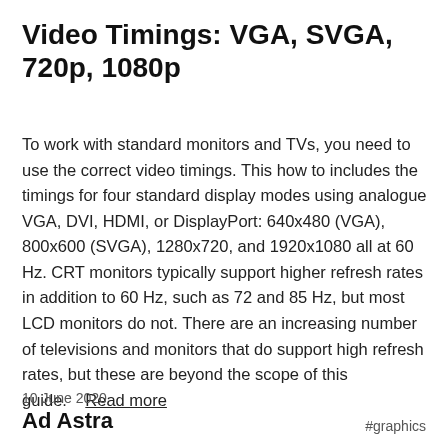Video Timings: VGA, SVGA, 720p, 1080p
To work with standard monitors and TVs, you need to use the correct video timings. This how to includes the timings for four standard display modes using analogue VGA, DVI, HDMI, or DisplayPort: 640x480 (VGA), 800x600 (SVGA), 1280x720, and 1920x1080 all at 60 Hz. CRT monitors typically support higher refresh rates in addition to 60 Hz, such as 72 and 85 Hz, but most LCD monitors do not. There are an increasing number of televisions and monitors that do support high refresh rates, but these are beyond the scope of this guide.    Read more
10 June 2020
#graphics
Ad Astra